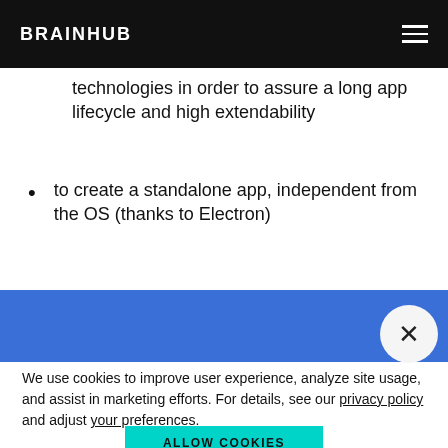BRAINHUB
technologies in order to assure a long app lifecycle and high extendability
to create a standalone app, independent from the OS (thanks to Electron)
We use cookies to improve user experience, analyze site usage, and assist in marketing efforts. For details, see our privacy policy and adjust your preferences.
ALLOW COOKIES